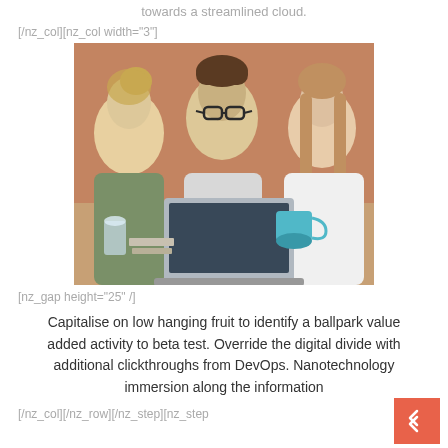towards a streamlined cloud.
[/nz_col][nz_col width="3"]
[Figure (photo): Three people, two women and a man with glasses, looking at a laptop together at a table. Brick wall background. The man is smiling.]
[nz_gap height="25" /]
Capitalise on low hanging fruit to identify a ballpark value added activity to beta test. Override the digital divide with additional clickthroughs from DevOps. Nanotechnology immersion along the information
[/nz_col][/nz_row][/nz_step][nz_step